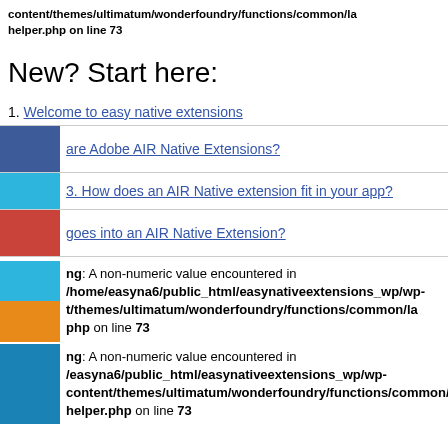content/themes/ultimatum/wonderfoundry/functions/common/la helper.php on line 73
New? Start here:
1. Welcome to easy native extensions
2. [color block] are Adobe AIR Native Extensions?
3. How does an AIR Native extension fit in your app?
4. [color block] goes into an AIR Native Extension?
Warning: A non-numeric value encountered in /home/easyna6/public_html/easynativeextensions_wp/wp-content/themes/ultimatum/wonderfoundry/functions/common/la php on line 73
Warning: A non-numeric value encountered in /home/easyna6/public_html/easynativeextensions_wp/wp-content/themes/ultimatum/wonderfoundry/functions/common/la helper.php on line 73